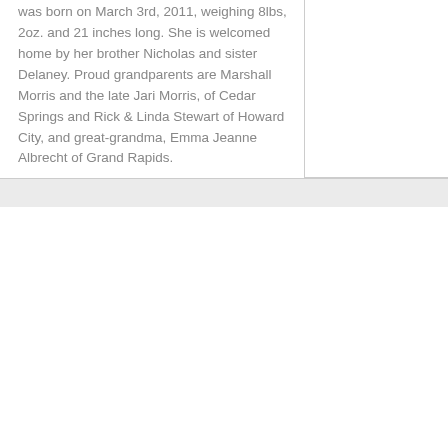was born on March 3rd, 2011, weighing 8lbs, 2oz. and 21 inches long. She is welcomed home by her brother Nicholas and sister Delaney. Proud grandparents are Marshall Morris and the late Jari Morris, of Cedar Springs and Rick & Linda Stewart of Howard City, and great-grandma, Emma Jeanne Albrecht of Grand Rapids.